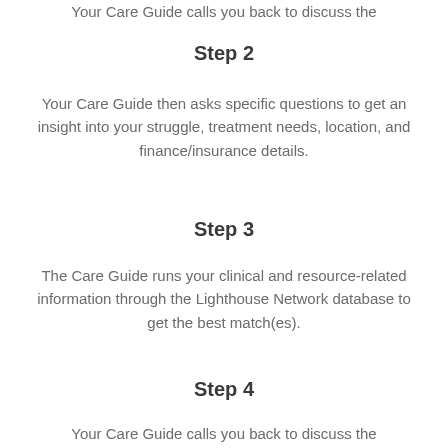Your Care Guide calls you back to discuss the
Step 2
Your Care Guide then asks specific questions to get an insight into your struggle, treatment needs, location, and finance/insurance details.
Step 3
The Care Guide runs your clinical and resource-related information through the Lighthouse Network database to get the best match(es).
Step 4
Your Care Guide calls you back to discuss the